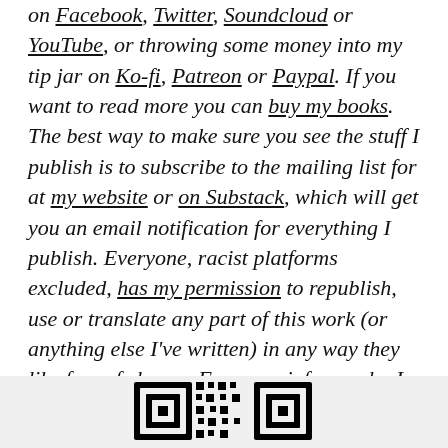on Facebook, Twitter, Soundcloud or YouTube, or throwing some money into my tip jar on Ko-fi, Patreon or Paypal. If you want to read more you can buy my books. The best way to make sure you see the stuff I publish is to subscribe to the mailing list for at my website or on Substack, which will get you an email notification for everything I publish. Everyone, racist platforms excluded, has my permission to republish, use or translate any part of this work (or anything else I've written) in any way they like free of charge. For more info on who I am, where I stand, and what I'm trying to do with this platform, click here.
[Figure (other): QR code partially visible at the bottom of the page]